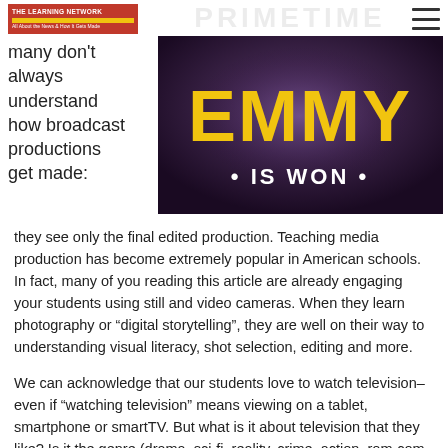PRIMETIME
[Figure (logo): THE LEARNING NETWORK logo with red background and yellow stripe]
many don't always understand how broadcast productions get made:
[Figure (photo): Emmy signage reading 'EMMY * IS WON *' in yellow letters on dark background]
they see only the final edited production. Teaching media production has become extremely popular in American schools. In fact, many of you reading this article are already engaging your students using still and video cameras. When they learn photography or “digital storytelling”, they are well on their way to understanding visual literacy, shot selection, editing and more.
We can acknowledge that our students love to watch television–even if “watching television” means viewing on a tablet, smartphone or smartTV. But what is it about television that they like? Is it the genre (drama, sci-fi, reality, crime, action, rom-com, etc), or is it the plot, or could it be the